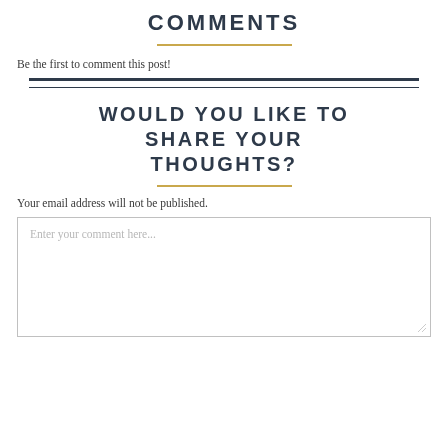COMMENTS
Be the first to comment this post!
WOULD YOU LIKE TO SHARE YOUR THOUGHTS?
Your email address will not be published.
[Figure (other): Comment text input box with placeholder text 'Enter your comment here...']